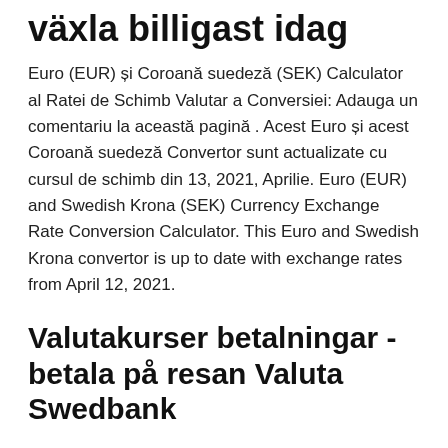växla billigast idag
Euro (EUR) și Coroană suedeză (SEK) Calculator al Ratei de Schimb Valutar a Conversiei: Adauga un comentariu la această pagină . Acest Euro și acest Coroană suedeză Convertor sunt actualizate cu cursul de schimb din 13, 2021, Aprilie. Euro (EUR) and Swedish Krona (SEK) Currency Exchange Rate Conversion Calculator. This Euro and Swedish Krona convertor is up to date with exchange rates from April 12, 2021.
Valutakurser betalningar - betala på resan Valuta Swedbank